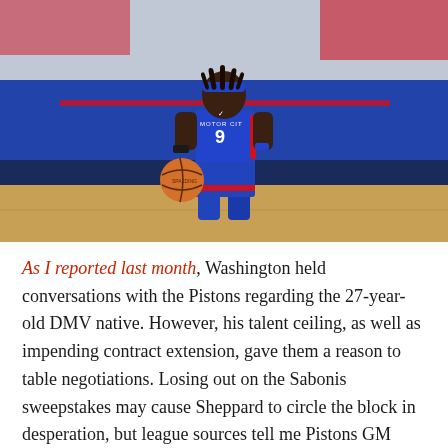[Figure (photo): Detroit Pistons player wearing blue 'Motor City' number 9 jersey dribbling a Spalding basketball on an NBA court]
As I reported last month, Washington held conversations with the Pistons regarding the 27-year-old DMV native. However, his talent ceiling, as well as impending contract extension, gave them a reason to table negotiations. Losing out on the Sabonis sweepstakes may cause Sheppard to circle the block in desperation, but league sources tell me Pistons GM